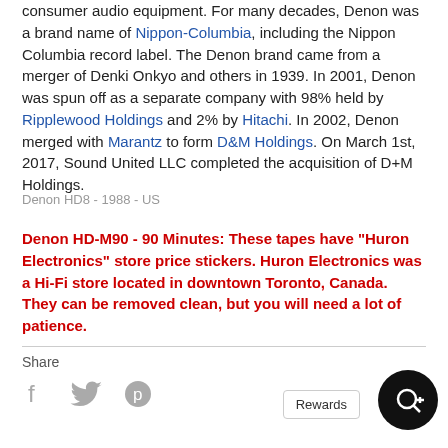consumer audio equipment. For many decades, Denon was a brand name of Nippon-Columbia, including the Nippon Columbia record label. The Denon brand came from a merger of Denki Onkyo and others in 1939. In 2001, Denon was spun off as a separate company with 98% held by Ripplewood Holdings and 2% by Hitachi. In 2002, Denon merged with Marantz to form D&M Holdings. On March 1st, 2017, Sound United LLC completed the acquisition of D+M Holdings.
Denon HD8 - 1988 - US
Denon HD-M90 - 90 Minutes: These tapes have "Huron Electronics" store price stickers. Huron Electronics was a Hi-Fi store located in downtown Toronto, Canada. They can be removed clean, but you will need a lot of patience.
Share